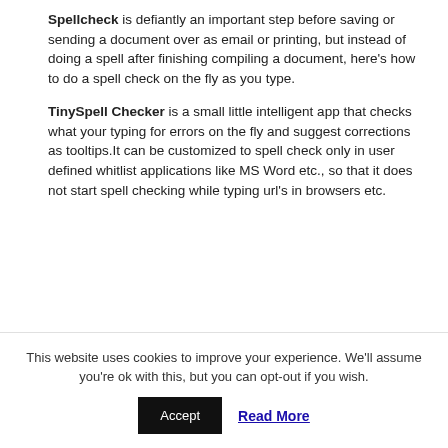Spellcheck is defiantly an important step before saving or sending a document over as email or printing, but instead of doing a spell after finishing compiling a document, here's how to do a spell check on the fly as you type.
TinySpell Checker is a small little intelligent app that checks what your typing for errors on the fly and suggest corrections as tooltips.It can be customized to spell check only in user defined whitlist applications like MS Word etc., so that it does not start spell checking while typing url's in browsers etc.
[Figure (screenshot): Screenshot of a webpage titled 'Spell Check As You Type Using Tiny Spell Checker' showing introductory text about spellcheck and TinySpell Checker.]
This website uses cookies to improve your experience. We'll assume you're ok with this, but you can opt-out if you wish.
Accept  Read More